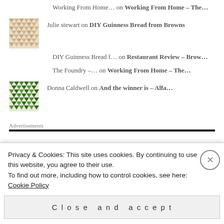Working From Home… on Working From Home – The…
Julie stewart on DIY Guinness Bread from Browns
DIY Guinness Bread f… on Restaurant Review – Brow…
The Foundry –… on Working From Home – The…
Donna Caldwell on And the winner is – Alfa…
Advertisements
Privacy & Cookies: This site uses cookies. By continuing to use this website, you agree to their use.
To find out more, including how to control cookies, see here: Cookie Policy
Close and accept